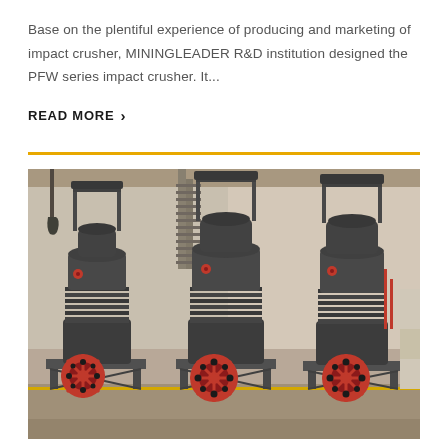Base on the plentiful experience of producing and marketing of impact crusher, MININGLEADER R&D institution designed the PFW series impact crusher. It...
READ MORE ›
[Figure (photo): Industrial photograph of three large cone crusher machines with red flywheel pulleys, dark grey bodies, coil springs, and structural steel frames, situated in a factory/warehouse setting with a crane hook visible at top left.]